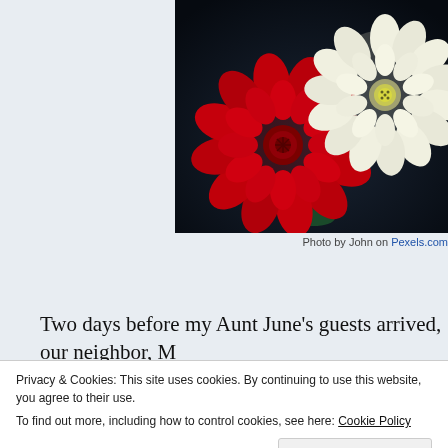[Figure (photo): Close-up photo of a red dahlia flower and a white dahlia flower against a dark background, with a green vase visible at the bottom.]
Photo by John on Pexels.com
Two days before my Aunt June's guests arrived, our neighbor, M... Duke, drove us to Canton to do a little shopping. He gladly wait...
Privacy & Cookies: This site uses cookies. By continuing to use this website, you agree to their use.
To find out more, including how to control cookies, see here: Cookie Policy